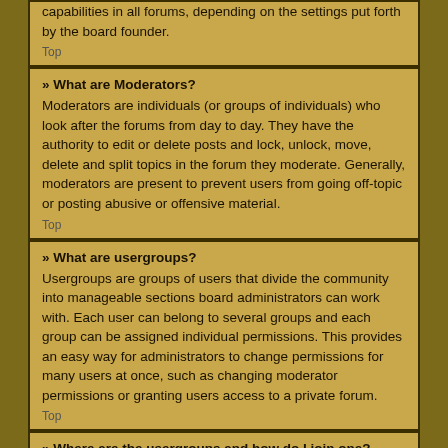capabilities in all forums, depending on the settings put forth by the board founder.
Top
» What are Moderators?
Moderators are individuals (or groups of individuals) who look after the forums from day to day. They have the authority to edit or delete posts and lock, unlock, move, delete and split topics in the forum they moderate. Generally, moderators are present to prevent users from going off-topic or posting abusive or offensive material.
Top
» What are usergroups?
Usergroups are groups of users that divide the community into manageable sections board administrators can work with. Each user can belong to several groups and each group can be assigned individual permissions. This provides an easy way for administrators to change permissions for many users at once, such as changing moderator permissions or granting users access to a private forum.
Top
» Where are the usergroups and how do I join one?
You can view all usergroups via the "Usergroups" link within your User Control Panel. If you would like to join one...